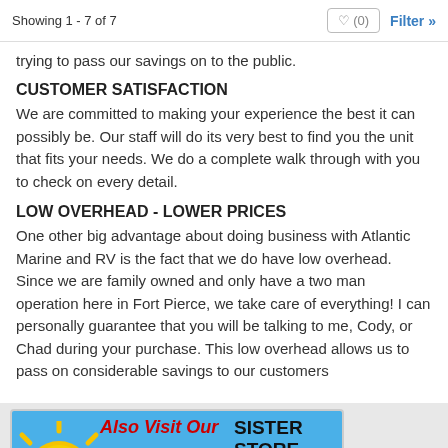Showing 1 - 7 of 7
trying to pass our savings on to the public.
CUSTOMER SATISFACTION
We are committed to making your experience the best it can possibly be. Our staff will do its very best to find you the unit that fits your needs. We do a complete walk through with you to check on every detail.
LOW OVERHEAD - LOWER PRICES
One other big advantage about doing business with Atlantic Marine and RV is the fact that we do have low overhead. Since we are family owned and only have a two man operation here in Fort Pierce, we take care of everything! I can personally guarantee that you will be talking to me, Cody, or Chad during your purchase. This low overhead allows us to pass on considerable savings to our customers
[Figure (illustration): Banner advertisement reading 'Also Visit Our SISTER STORE SUN CAMPER RV' with a cartoon sun mascot wearing sunglasses on a blue background]